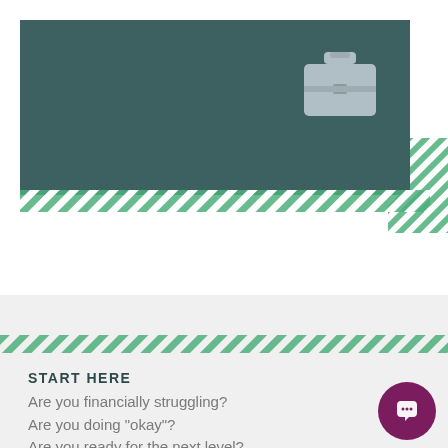Workplace
[Figure (illustration): Briefcase icon in light gray on dark teal header background]
[Figure (illustration): Diagonal green and white stripe pattern decorative bar below header]
[Figure (illustration): Diagonal green and white stripe pattern decorative bar in bottom section]
START HERE
Are you financially struggling?
Are you doing "okay"?
Are you ready for the next level?
[Figure (illustration): Circular purple chat/message button in bottom right corner]